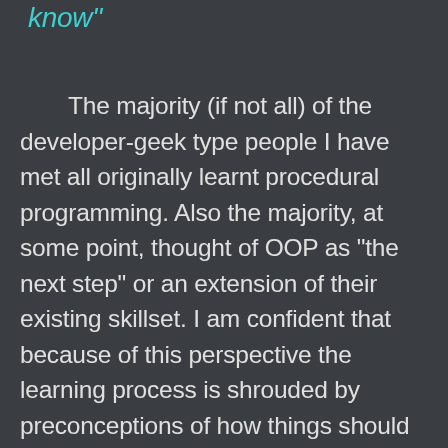know"
The majority (if not all) of the developer-geek type people I have met all originally learnt procedural programming. Also the majority, at some point, thought of OOP as "the next step" or an extension of their existing skillset. I am confident that because of this perspective the learning process is shrouded by preconceptions of how things should be and makes for a frustrating and confusing time. Which I would also apportion to the number of people who have attempted and retracted from OOP (myself originally included). Also going